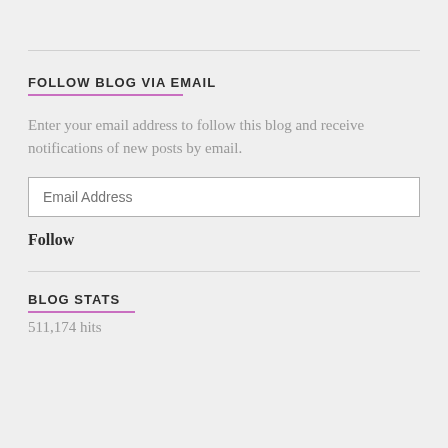FOLLOW BLOG VIA EMAIL
Enter your email address to follow this blog and receive notifications of new posts by email.
Follow
BLOG STATS
511,174 hits